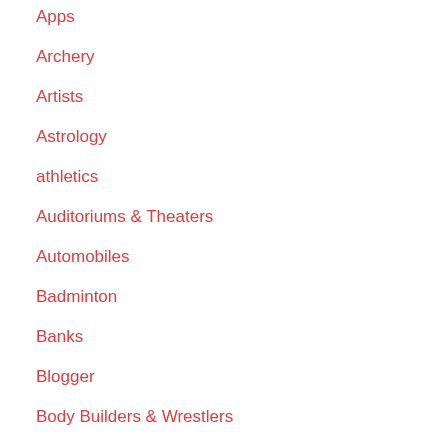Apps
Archery
Artists
Astrology
athletics
Auditoriums & Theaters
Automobiles
Badminton
Banks
Blogger
Body Builders & Wrestlers
Books
Books & Writers
Boxing
Broadband